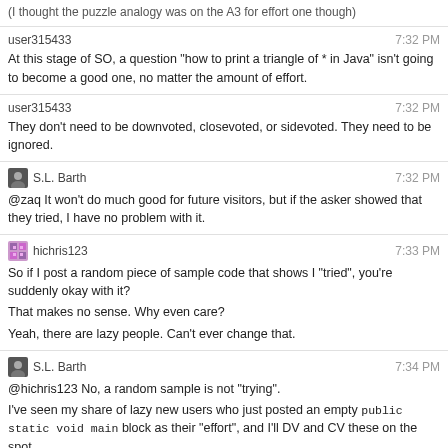(I thought the puzzle analogy was on the A3 for effort one though)
user315433 7:32 PM
At this stage of SO, a question "how to print a triangle of * in Java" isn't going to become a good one, no matter the amount of effort.
user315433 7:32 PM
They don't need to be downvoted, closevoted, or sidevoted. They need to be ignored.
S.L. Barth 7:32 PM
@zaq It won't do much good for future visitors, but if the asker showed that they tried, I have no problem with it.
hichris123 7:33 PM
So if I post a random piece of sample code that shows I "tried", you're suddenly okay with it?
That makes no sense. Why even care?
Yeah, there are lazy people. Can't ever change that.
S.L. Barth 7:34 PM
@hichris123 No, a random sample is not "trying".
I've seen my share of lazy new users who just posted an empty public static void main block as their "effort", and I'll DV and CV these on the spot.
hichris123 7:36 PM
But my point is "so what?" Is it because you don't want SO to become a haven for lazy people? If so, that seems contrary to SO's main goal -- to give people answers to problems they encounter. Doesn't matter if they tried anything or not. Just matters if it can be answered.